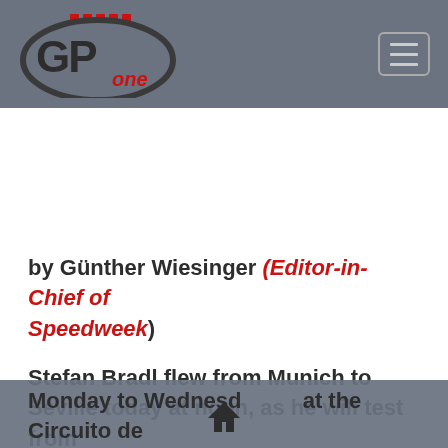GP One logo and navigation header
by Günther Wiesinger (Editor-in-Chief of Speedweek)
Stefan Bradl flew from Munich to Seville today at noon, as he will test from Monday to Wednesday at the Circuito de Jerez, where he will fight for
Home navigation icon